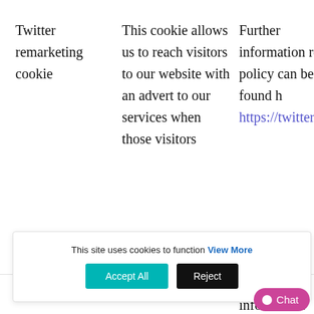|  |  |  |
| --- | --- | --- |
| Twitter remarketing cookie | This cookie allows us to reach visitors to our website with an advert to our services when those visitors | Further information re- garding our privacy policy can be found h- https://twitter.com/p |
This site uses cookies to function View More
Accept All
Reject
Chat
LeadForensics- This cookie Further information